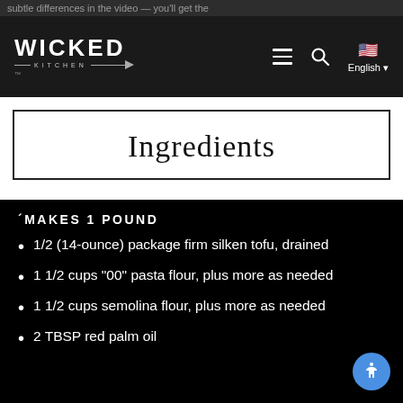subtle differences in the video — you'll get the
[Figure (logo): Wicked Kitchen logo with knife graphic on black navigation bar, with hamburger menu, search icon, and English language selector with US flag]
Ingredients
MAKES 1 POUND
1/2 (14-ounce) package firm silken tofu, drained
1 1/2 cups “00” pasta flour, plus more as needed
1 1/2 cups semolina flour, plus more as needed
2 TBSP red palm oil